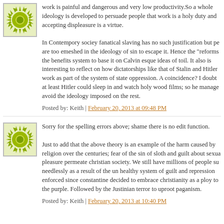[Figure (illustration): Green sun/circle avatar icon with radiating spikes]
work is painful and dangerous and very low productivity.So a whole ideology is developed to persuade people that work is a holy duty and accepting displeasure is a virtue.

In Contempory sociey fanatical slaving has no such justification but pe are too emeshed in the ideology of sin to escape it. Hence the "reforms the benefits system to base it on Calvin esque ideas of toil. It also is interesting to reflect on how dictatorships like that of Stalin and Hitler work as part of the system of state oppression. A coincidence? I doubt at least Hitler could sleep in and watch holy wood films; so he manage avoid the ideology imposed on the rest.
Posted by: Keith | February 20, 2013 at 09:48 PM
[Figure (illustration): Green sun/circle avatar icon with radiating spikes]
Sorry for the spelling errors above; shame there is no edit function.

Just to add that the above theory is an example of the harm caused by religion over the centuries; fear of the sin of sloth and guilt about sexua pleasure permeate christian society. We still have millions of people su needlessly as a result of the un healthy system of guilt and repression enforced since constantine decided to embrace christianity as a ploy to the purple. Followed by the Justinian terror to uproot paganism.
Posted by: Keith | February 20, 2013 at 10:40 PM